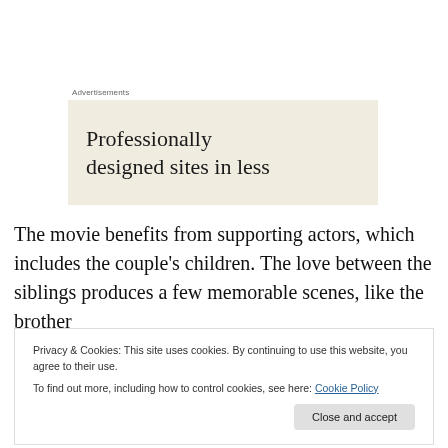Advertisements
[Figure (other): Advertisement banner with beige/cream background reading 'Professionally designed sites in less']
The movie benefits from supporting actors, which includes the couple's children. The love between the siblings produces a few memorable scenes, like the brother
Privacy & Cookies: This site uses cookies. By continuing to use this website, you agree to their use.
To find out more, including how to control cookies, see here: Cookie Policy
town leader provide comic and tragic moments. I also